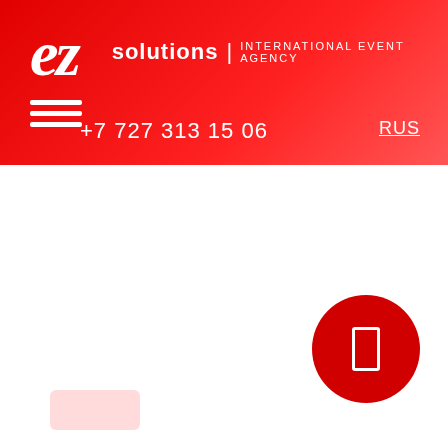[Figure (logo): EZ Solutions International Event Agency logo on red gradient header background with hamburger menu, phone number +7 727 313 15 06, and RUS language link]
[Figure (other): Red circle play/pause button on white background, lower right area of page]
[Figure (other): Small light pink/red rounded rectangle button at bottom left]